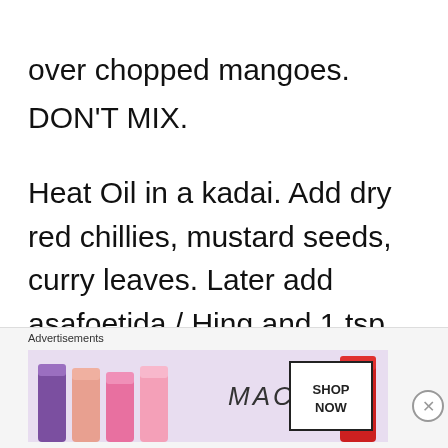over chopped mangoes.
DON’T MIX.
Heat Oil in a kadai. Add dry red chillies, mustard seeds, curry leaves. Later add asafoetida / Hing and 1 tsp red chilli powder. With a quick stir, add tempering over chopped
Advertisements
[Figure (photo): MAC Cosmetics advertisement banner showing colorful lipsticks with 'MAC' logo and 'SHOP NOW' button]